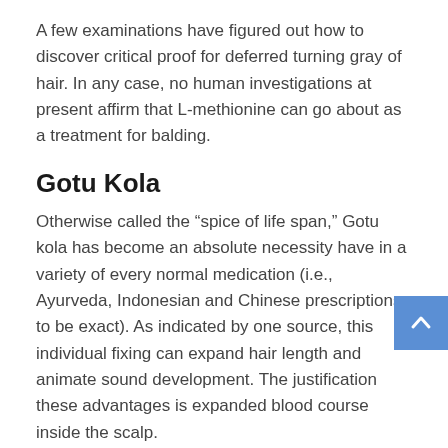A few examinations have figured out how to discover critical proof for deferred turning gray of hair. In any case, no human investigations at present affirm that L-methionine can go about as a treatment for balding.
Gotu Kola
Otherwise called the “spice of life span,” Gotu kola has become an absolute necessity have in a variety of every normal medication (i.e., Ayurveda, Indonesian and Chinese prescriptions, to be exact). As indicated by one source, this individual fixing can expand hair length and animate sound development. The justification these advantages is expanded blood course inside the scalp.
Citrus Bioflavonoid
Such sources may likewise secure scalp cells found inside veins. Truth be told, helpless invulnerable wellbeing